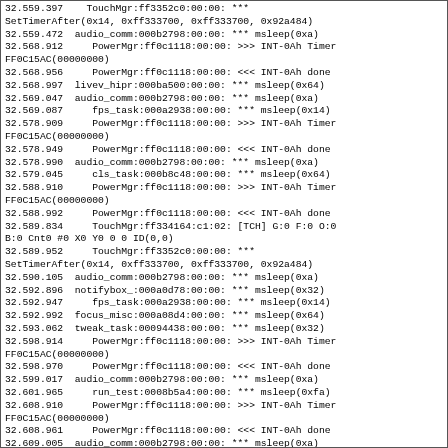32.559.397    TouchMgr:ff3352c0:00:00: ***
SetTimerAfter(0x14, 0xff333700, 0xff333700, 0x92a484)
32.559.472  audio_comm:000b2798:00:00: *** msleep(0xa)
32.568.912     PowerMgr:ff0c1118:00:00: >>> INT-0Ah Timer
FF0C15AC(00000000)
32.568.956     PowerMgr:ff0c1118:00:00: <<< INT-0Ah done
32.568.997  livev_hipr:000ba500:00:00: *** msleep(0x64)
32.569.047  audio_comm:000b2798:00:00: *** msleep(0xa)
32.569.087     fps_task:000a2938:00:00: *** msleep(0x14)
32.578.909     PowerMgr:ff0c1118:00:00: >>> INT-0Ah Timer
FF0C15AC(00000000)
32.578.949     PowerMgr:ff0c1118:00:00: <<< INT-0Ah done
32.578.990  audio_comm:000b2798:00:00: *** msleep(0xa)
32.579.045     cls_task:000b8c48:00:00: *** msleep(0x64)
32.588.910     PowerMgr:ff0c1118:00:00: >>> INT-0Ah Timer
FF0C15AC(00000000)
32.588.992     PowerMgr:ff0c1118:00:00: <<< INT-0Ah done
32.589.834     TouchMgr:ff334164:c1:02: [TCH] G:0 F:0 O:0
B:0 Cnt0 #0 X0 Y0 0 0 ID(0,0)
32.589.952     TouchMgr:ff3352c0:00:00: ***
SetTimerAfter(0x14, 0xff333700, 0xff333700, 0x92a484)
32.590.105  audio_comm:000b2798:00:00: *** msleep(0xa)
32.592.896  notifybox_:000a0d78:00:00: *** msleep(0x32)
32.592.947     fps_task:000a2938:00:00: *** msleep(0x14)
32.592.992  focus_misc:000a08d4:00:00: *** msleep(0x64)
32.593.062  tweak_task:00094438:00:00: *** msleep(0x32)
32.598.914     PowerMgr:ff0c1118:00:00: >>> INT-0Ah Timer
FF0C15AC(00000000)
32.598.970     PowerMgr:ff0c1118:00:00: <<< INT-0Ah done
32.599.017  audio_comm:000b2798:00:00: *** msleep(0xa)
32.601.965     run_test:0008b5a4:00:00: *** msleep(0xfa)
32.608.910     PowerMgr:ff0c1118:00:00: >>> INT-0Ah Timer
FF0C15AC(00000000)
32.608.961     PowerMgr:ff0c1118:00:00: <<< INT-0Ah done
32.609.005  audio_comm:000b2798:00:00: *** msleep(0xa)
32.609.057     fps_task:000a2938:00:00: *** msleep(0x14)
32.618.907     PowerMgr:ff0c1118:00:00: >>> INT-0Ah Timer
FF0C15AC(00000000)
32.618.981     PowerMgr:ff0c1118:00:00: <<< INT-0Ah done
32.619.277     TouchMgr:ff334164:c1:02: [TCH] G:0 F:0 O:0
B:0 Cnt0 #0 X0 Y0 0 0 ID(0,0)